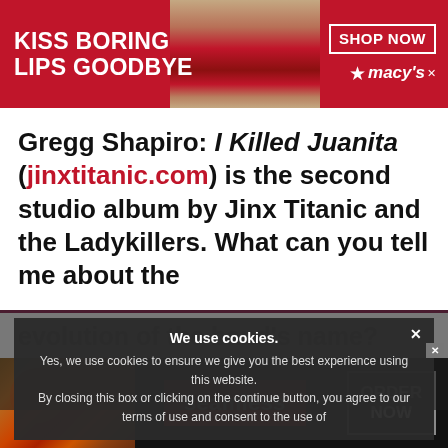[Figure (infographic): Macy's advertisement banner: red background, woman with red lips center, 'KISS BORING LIPS GOODBYE' text left, 'SHOP NOW' button and Macy's star logo right]
Gregg Shapiro: I Killed Juanita (jinxtitanic.com) is the second studio album by Jinx Titanic and the Ladykillers. What can you tell me about the
evolution of the band's name?
Jinx Titanic: ... Mister Cas...
We use cookies. Yes, we use cookies to ensure we give you the best experience using this website. By closing this box or clicking on the continue button, you agree to our terms of use and consent to the use of
[Figure (infographic): Seamless food delivery advertisement: pizza image left, red 'seamless' button center, 'ORDER NOW' button right, dark background]